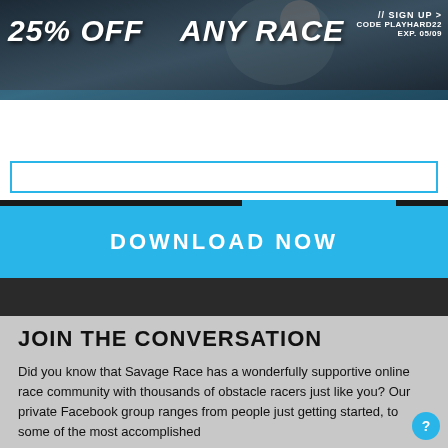[Figure (screenshot): Savage Race website banner showing 25% OFF ANY RACE promotion with a runner in the background]
// SIGN UP >
CODE PLAYHARD22
EXP. 05/09
[Figure (logo): SAVAGE RACE logo in white and blue]
REGISTER NOW
DOWNLOAD NOW
JOIN THE CONVERSATION
Did you know that Savage Race has a wonderfully supportive online race community with thousands of obstacle racers just like you? Our private Facebook group ranges from people just getting started, to some of the most accomplished